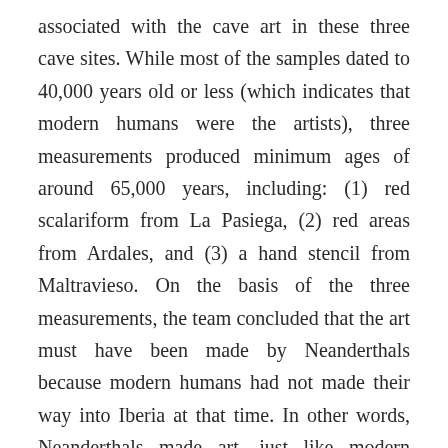associated with the cave art in these three cave sites. While most of the samples dated to 40,000 years old or less (which indicates that modern humans were the artists), three measurements produced minimum ages of around 65,000 years, including: (1) red scalariform from La Pasiega, (2) red areas from Ardales, and (3) a hand stencil from Maltravieso. On the basis of the three measurements, the team concluded that the art must have been made by Neanderthals because modern humans had not made their way into Iberia at that time. In other words, Neanderthals made art, just like modern humans did.